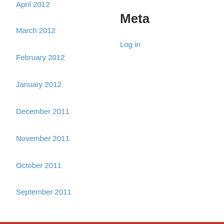April 2012
March 2012
February 2012
January 2012
December 2011
November 2011
October 2011
September 2011
Meta
Log in